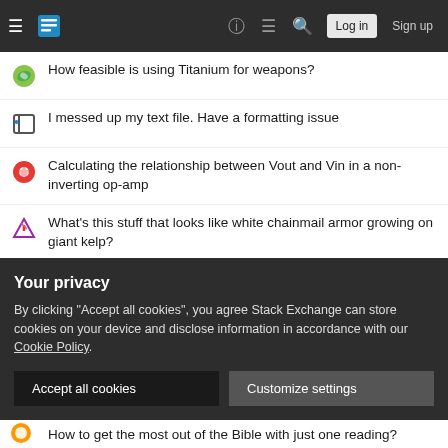Stack Exchange navigation bar with hamburger menu, logo, help, chat, search, Log in, Sign up
How feasible is using Titanium for weapons?
I messed up my text file. Have a formatting issue
Calculating the relationship between Vout and Vin in a non-inverting op-amp
What's this stuff that looks like white chainmail armor growing on giant kelp?
How can I pay with my credit card, without disclosing its details to seller who needs them over the phone?
Dice league, putting players against each other
A 1-D labyrinth
Your privacy
By clicking "Accept all cookies", you agree Stack Exchange can store cookies on your device and disclose information in accordance with our Cookie Policy.
[Accept all cookies] [Customize settings]
How to get the most out of the Bible with just one reading?